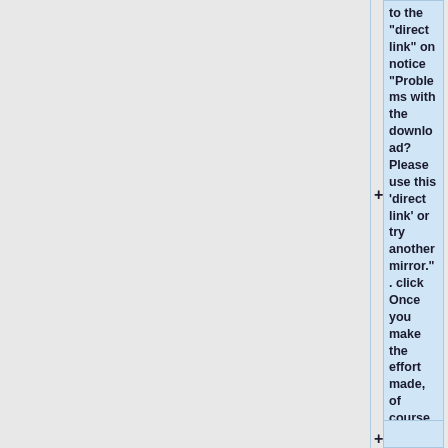to the "direct link" on notice "Problems with the download? Please use this 'direct link' or try another mirror." . click Once you make the effort made, of course you checked the download of new clients Bitcoin the checksums, which are indicated on the sourceforge page, with the program sha1.